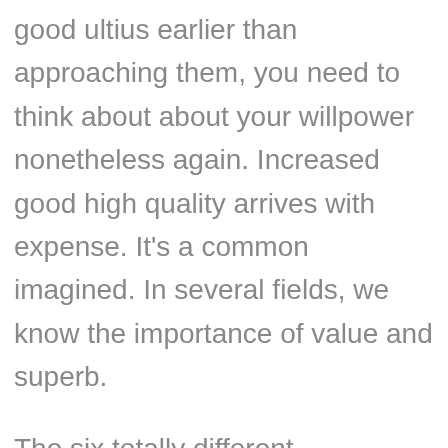good ultius earlier than approaching them, you need to think about about your willpower nonetheless again. Increased good high quality arrives with expense. It's a common imagined. In several fields, we know the importance of value and superb.
The six totally different distributors and providers used by Ultius include Armor, Google Apps for Work, McAfee Secure, Cisco, Cloudflare, and GeoTrust, to make ultius review sure most safety of our website and our purchasers. High 10 custom essay writing services ranked by students.